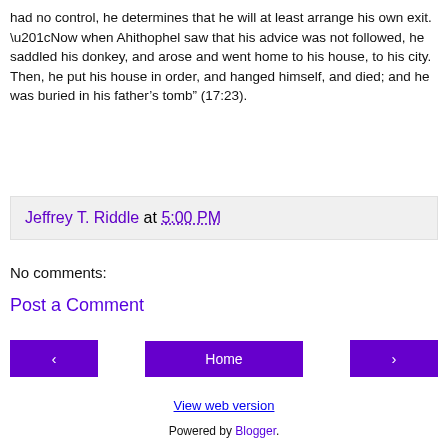had no control, he determines that he will at least arrange his own exit. “Now when Ahithophel saw that his advice was not followed, he saddled his donkey, and arose and went home to his house, to his city. Then, he put his house in order, and hanged himself, and died; and he was buried in his father’s tomb” (17:23).
Jeffrey T. Riddle at 5:00 PM
No comments:
Post a Comment
‹
Home
›
View web version
Powered by Blogger.